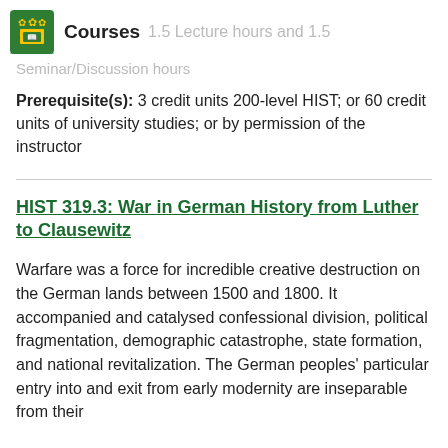Courses  1.5 Lecture hours and 1.5 Seminar/Discussion hours
Prerequisite(s): 3 credit units 200-level HIST; or 60 credit units of university studies; or by permission of the instructor
HIST 319.3: War in German History from Luther to Clausewitz
Warfare was a force for incredible creative destruction on the German lands between 1500 and 1800. It accompanied and catalysed confessional division, political fragmentation, demographic catastrophe, state formation, and national revitalization. The German peoples' particular entry into and exit from early modernity are inseparable from their